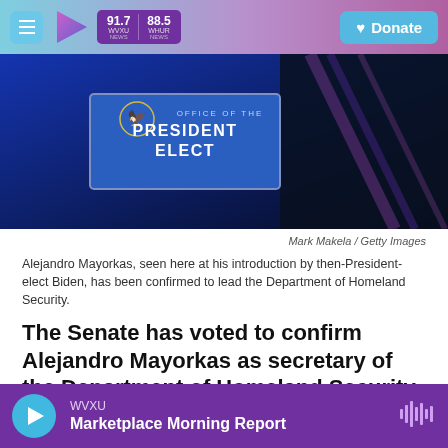91.7 WVXU NEWS | 88.5 WHUB NEWS | Donate
[Figure (photo): Sign reading 'Office of the President Elect' with eagle seal on blue background, with a dark figure in background]
Mark Makela / Getty Images
Alejandro Mayorkas, seen here at his introduction by then-President-elect Biden, has been confirmed to lead the Department of Homeland Security.
The Senate has voted to confirm Alejandro Mayorkas as secretary of the Department of Homeland Security. He becomes the first Latino and first immigrant to lead DHS.
The vote was narrower than for some of President
WVXU — Marketplace Morning Report